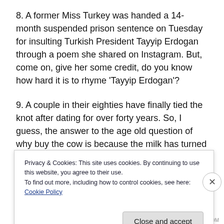8. A former Miss Turkey was handed a 14-month suspended prison sentence on Tuesday for insulting Turkish President Tayyip Erdogan through a poem she shared on Instagram. But, come on, give her some credit, do you know how hard it is to rhyme 'Tayyip Erdogan'?
9. A couple in their eighties have finally tied the knot after dating for over forty years. So, I guess, the answer to the age old question of why buy the cow is because the milk has turned sour.
10. Just one day after saying he'd love to debate Bernie
Privacy & Cookies: This site uses cookies. By continuing to use this website, you agree to their use.
To find out more, including how to control cookies, see here: Cookie Policy
Close and accept
HUFFINGTONPOST.COM